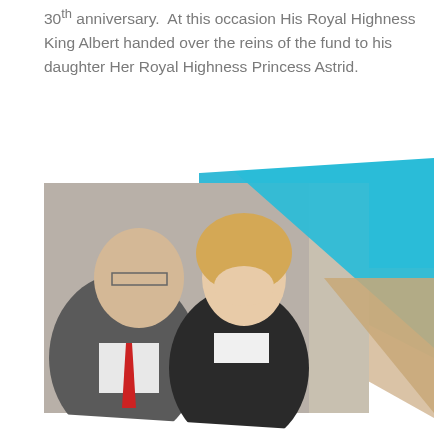30th anniversary.  At this occasion His Royal Highness King Albert handed over the reins of the fund to his daughter Her Royal Highness Princess Astrid.
[Figure (photo): Photograph of an elderly man in a dark suit with a red tie and a smiling blonde woman in a dark jacket, overlaid with a large cyan/blue triangular graphic element and a smaller tan/beige triangular element on the right side.]